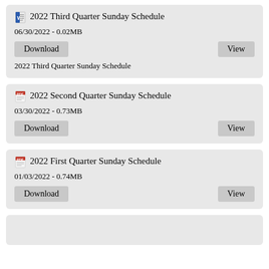2022 Third Quarter Sunday Schedule
06/30/2022 - 0.02MB
Download | View
2022 Third Quarter Sunday Schedule
2022 Second Quarter Sunday Schedule
03/30/2022 - 0.73MB
Download | View
2022 First Quarter Sunday Schedule
01/03/2022 - 0.74MB
Download | View